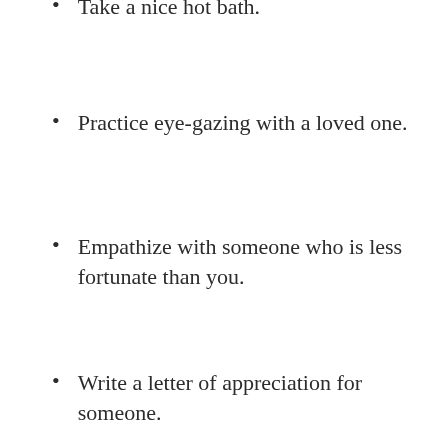Take a nice hot bath.
Practice eye-gazing with a loved one.
Empathize with someone who is less fortunate than you.
Write a letter of appreciation for someone.